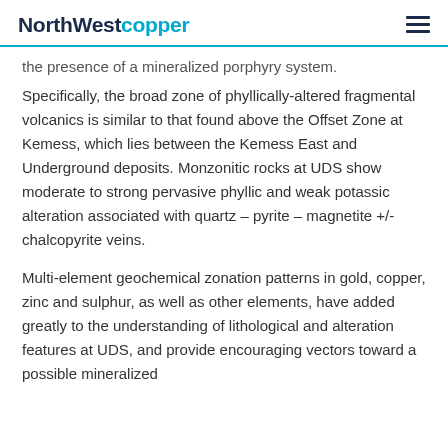NorthWestcopper
the presence of a mineralized porphyry system.
Specifically, the broad zone of phyllically-altered fragmental volcanics is similar to that found above the Offset Zone at Kemess, which lies between the Kemess East and Underground deposits. Monzonitic rocks at UDS show moderate to strong pervasive phyllic and weak potassic alteration associated with quartz – pyrite – magnetite +/- chalcopyrite veins.
Multi-element geochemical zonation patterns in gold, copper, zinc and sulphur, as well as other elements, have added greatly to the understanding of lithological and alteration features at UDS, and provide encouraging vectors toward a possible mineralized